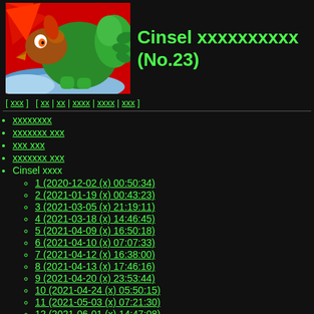[Figure (illustration): Cartoon game character illustration — a green bird-like creature with claws against a red and blue background, anime/game style.]
Cinsel xxxxxxxxxx (No.23)
[ xxx ]  [ xx | xx | xxxx | xxxx | xxx ]
xxxxxxxx
xxxxxxx xxx
xxx xxx
xxxxxxx xxx
Cinsel xxxx
1 (2020-12-02 (x) 00:50:34)
2 (2021-01-19 (x) 00:43:23)
3 (2021-03-05 (x) 21:19:11)
4 (2021-03-18 (x) 14:46:45)
5 (2021-04-09 (x) 16:50:18)
6 (2021-04-10 (x) 07:07:33)
7 (2021-04-12 (x) 16:38:00)
8 (2021-04-13 (x) 17:46:16)
9 (2021-04-20 (x) 23:53:44)
10 (2021-04-24 (x) 05:50:15)
11 (2021-05-03 (x) 07:21:30)
12 (2021-06-01 (x) 14:47:08)